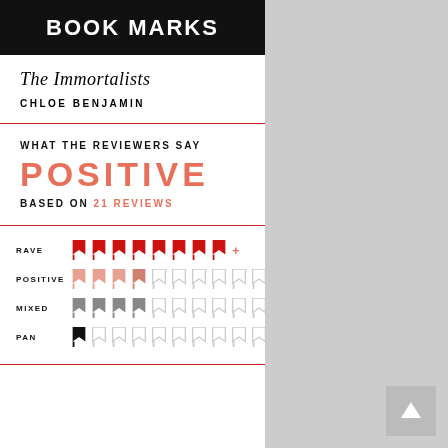BOOK MARKS
The Immortalists
CHLOE BENJAMIN
WHAT THE REVIEWERS SAY
POSITIVE
BASED ON 21 REVIEWS
[Figure (infographic): Rating breakdown showing bookmark icons: RAVE - 8+ filled red bookmarks; POSITIVE - 3.5 filled salmon bookmarks out of 10; MIXED - 4 filled grey bookmarks out of 10; PAN - 1 filled black bookmark out of 10]